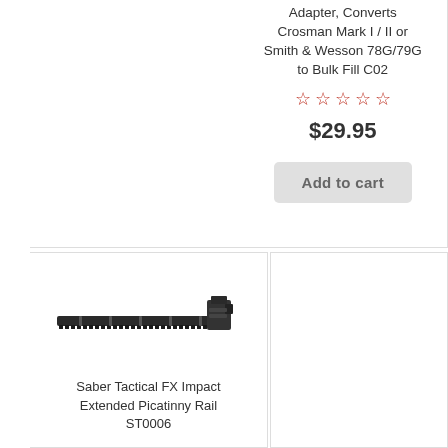Adapter, Converts Crosman Mark I / II or Smith & Wesson 78G/79G to Bulk Fill C02
[Figure (other): Five empty star rating icons in red outline]
$29.95
Add to cart
[Figure (photo): Photo of a Saber Tactical FX Impact Extended Picatinny Rail ST0006 — a long black metal rail accessory with serrated underside and a mounting bracket at one end]
Saber Tactical FX Impact Extended Picatinny Rail ST0006